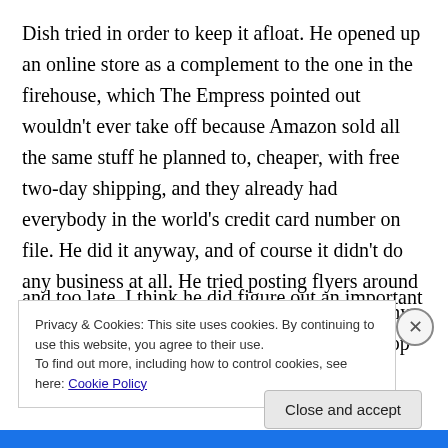Dish tried in order to keep it afloat. He opened up an online store as a complement to the one in the firehouse, which The Empress pointed out wouldn’t ever take off because Amazon sold all the same stuff he planned to, cheaper, with free two-day shipping, and they already had everybody in the world’s credit card number on file. He did it anyway, and of course it didn’t do any business at all. He tried posting flyers around the neighborhood, but that failed to drum up any interest in the ghetto over high-powered desktop PCs or the repair thereof. In the end, and too late, I think he did figure out an important secret of
Privacy & Cookies: This site uses cookies. By continuing to use this website, you agree to their use.
To find out more, including how to control cookies, see here: Cookie Policy
Close and accept